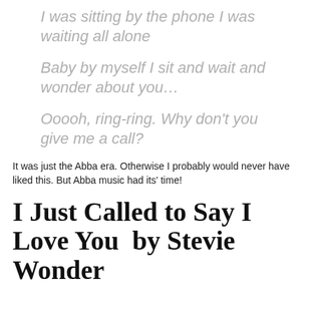I was sitting by the phone I was waiting all alone
Baby by myself I sit and wait and wonder about you…
Ooooh, ring-ring.  Why don't you give me a call?
It was just the Abba era.  Otherwise I probably would never have liked this.  But Abba music had its' time!
I Just Called to Say I Love You  by Stevie Wonder